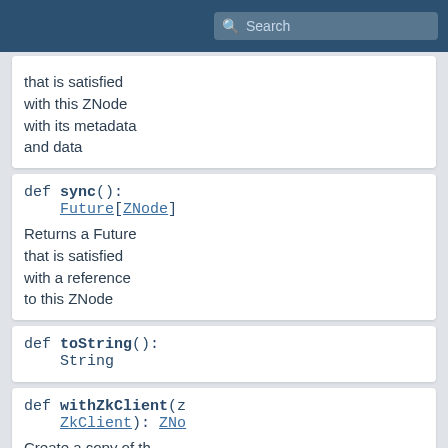Search
that is satisfied with this ZNode with its metadata and data
def sync(): Future[ZNode]
Returns a Future that is satisfied with a reference to this ZNode
def toString(): String
def withZkClient(z ZkClient): ZNo
Create a copy of th ZNode with an alternate ZkClient.